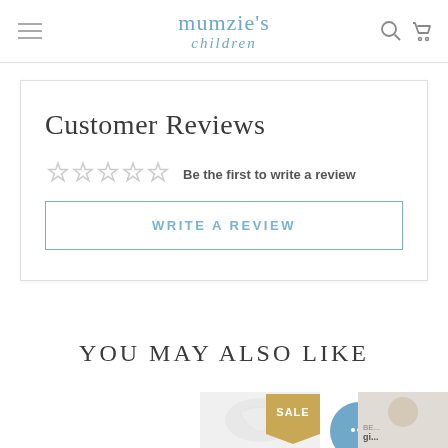mumzie's children
Customer Reviews
Be the first to write a review
WRITE A REVIEW
YOU MAY ALSO LIKE
[Figure (photo): Product thumbnails with SALE badge and chat bubble icon at bottom of page]